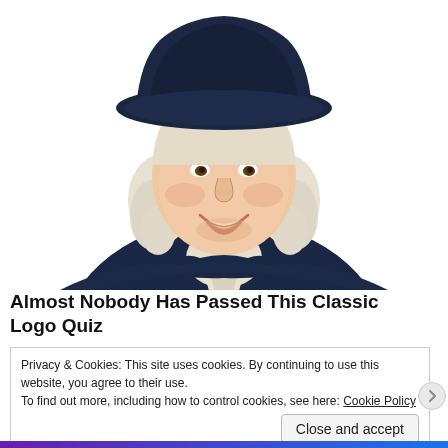[Figure (illustration): Quaker Oats mascot: a smiling man with white curly hair wearing a dark navy coat with white cravat and a dark wide-brimmed hat, depicted from the chest up against a white background.]
Almost Nobody Has Passed This Classic Logo Quiz
Privacy & Cookies: This site uses cookies. By continuing to use this website, you agree to their use.
To find out more, including how to control cookies, see here: Cookie Policy
Close and accept